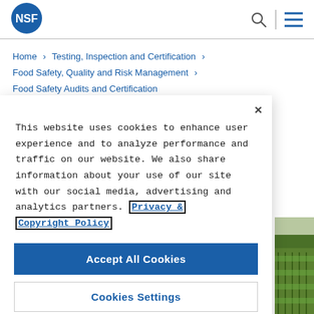[Figure (logo): NSF logo — white text 'NSF' on dark blue circle]
Home › Testing, Inspection and Certification › Food Safety, Quality and Risk Management › Food Safety Audits and Certification
This website uses cookies to enhance user experience and to analyze performance and traffic on our website. We also share information about your use of our site with our social media, advertising and analytics partners. Privacy & Copyright Policy
Accept All Cookies
Cookies Settings
[Figure (photo): Partial view of a vineyard with green grapevines in rows]